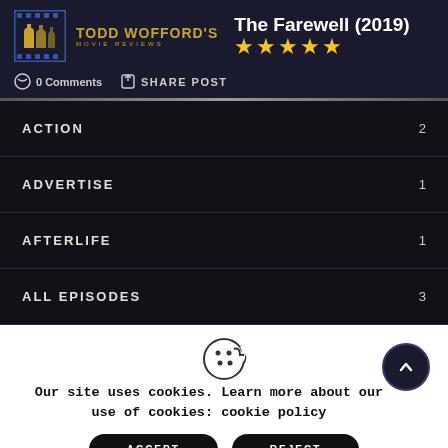TODD WOFFORD'S MOVIE REVIEWS
The Farewell (2019) ★★★★★
0 Comments  SHARE POST
ACTION 2
ADVERTISE 1
AFTERLIFE 1
ALL EPISODES 3
Our site uses cookies. Learn more about our use of cookies: cookie policy
ACCEPT  REJECT